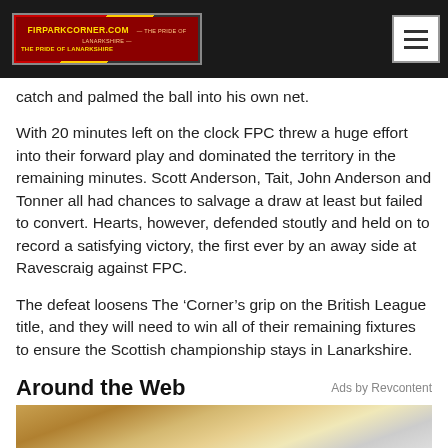FIRPARKCORNER.COM — THE PRIDE OF LANARKSHIRE
catch and palmed the ball into his own net.
With 20 minutes left on the clock FPC threw a huge effort into their forward play and dominated the territory in the remaining minutes. Scott Anderson, Tait, John Anderson and Tonner all had chances to salvage a draw at least but failed to convert. Hearts, however, defended stoutly and held on to record a satisfying victory, the first ever by an away side at Ravescraig against FPC.
The defeat loosens The ‘Corner’s grip on the British League title, and they will need to win all of their remaining fixtures to ensure the Scottish championship stays in Lanarkshire.
Around the Web
Ads by Revcontent
[Figure (photo): Partial bottom image, appears to show a person, cropped at bottom of page]